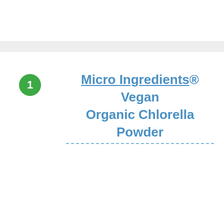1 Micro Ingredients® Vegan Organic Chlorella Powder